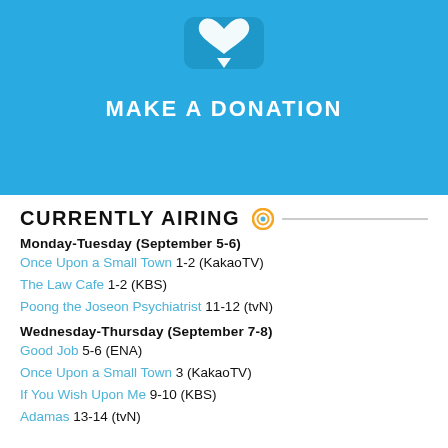[Figure (illustration): Blue banner with a donation/heart icon and text MAKE A DONATION on a sky blue background]
CURRENTLY AIRING
Monday-Tuesday (September 5-6)
Once Upon a Small Town 1-2 (KakaoTV)
The Law Cafe 1-2 (KBS)
Poong the Joseon Psychiatrist 11-12 (tvN)
Wednesday-Thursday (September 7-8)
Good Job 5-6 (ENA)
Once Upon a Small Town 3 (KakaoTV)
If You Wish Upon Me 9-10 (KBS)
Adamas 13-14 (tvN)